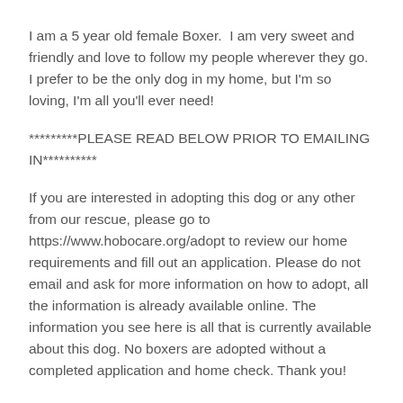I am a 5 year old female Boxer.  I am very sweet and friendly and love to follow my people wherever they go. I prefer to be the only dog in my home, but I'm so loving, I'm all you'll ever need!
*********PLEASE READ BELOW PRIOR TO EMAILING IN**********
If you are interested in adopting this dog or any other from our rescue, please go to https://www.hobocare.org/adopt to review our home requirements and fill out an application. Please do not email and ask for more information on how to adopt, all the information is already available online. The information you see here is all that is currently available about this dog. No boxers are adopted without a completed application and home check. Thank you!
Interested?
Details